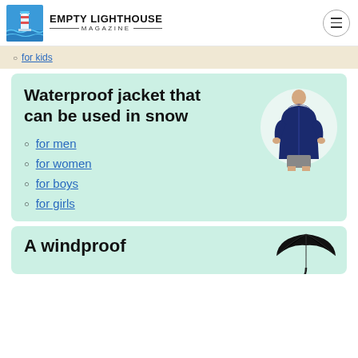EMPTY LIGHTHOUSE MAGAZINE
for kids
Waterproof jacket that can be used in snow
[Figure (photo): Man wearing a navy blue waterproof hooded jacket with shorts]
for men
for women
for boys
for girls
A windproof
[Figure (photo): Black windproof umbrella]